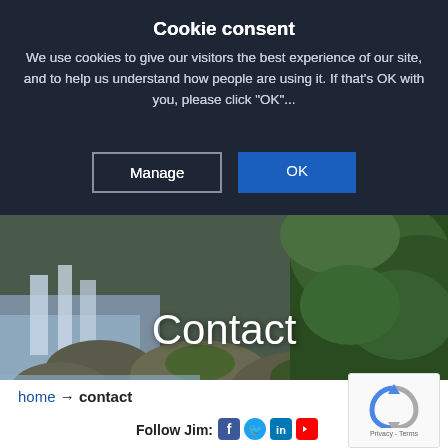Cookie consent
We use cookies to give our visitors the best experience of our site, and to help us understand how people are using it. If that's OK with you, please click "OK"...
[Figure (screenshot): Two buttons: 'Manage' (outlined) and 'OK' (blue filled)]
[Figure (photo): Waterfall and rocks with green foliage nature scene hero image with 'Contact' text overlay]
home → contact
Follow Jim:
[Figure (logo): reCAPTCHA widget with Privacy - Terms text]